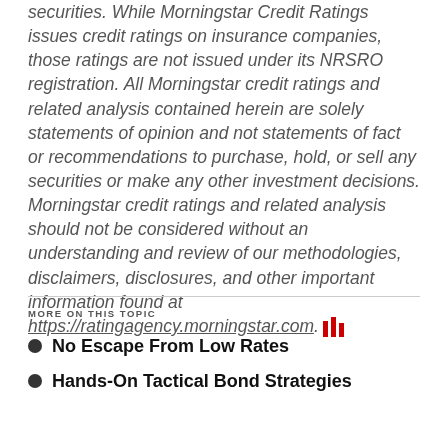securities. While Morningstar Credit Ratings issues credit ratings on insurance companies, those ratings are not issued under its NRSRO registration. All Morningstar credit ratings and related analysis contained herein are solely statements of opinion and not statements of fact or recommendations to purchase, hold, or sell any securities or make any other investment decisions. Morningstar credit ratings and related analysis should not be considered without an understanding and review of our methodologies, disclaimers, disclosures, and other important information found at https://ratingagency.morningstar.com.
MORE ON THIS TOPIC
No Escape From Low Rates
Hands-On Tactical Bond Strategies